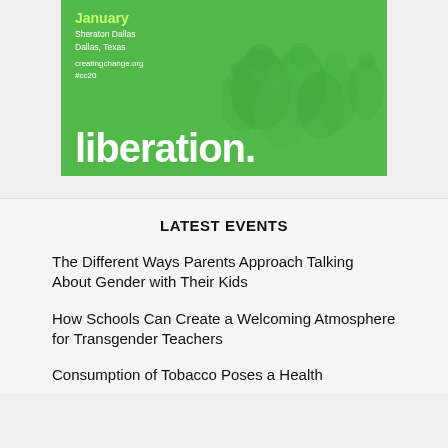[Figure (photo): Green-tinted promotional image for 'Creating Change' conference in January at Sheraton Dallas, Dallas, Texas. Website creatingchange.org, hashtag #cc20. Large white bold text reads 'liberation.' overlaid on a crowd of people with a green color wash.]
LATEST EVENTS
The Different Ways Parents Approach Talking About Gender with Their Kids
How Schools Can Create a Welcoming Atmosphere for Transgender Teachers
Consumption of Tobacco Poses a Health